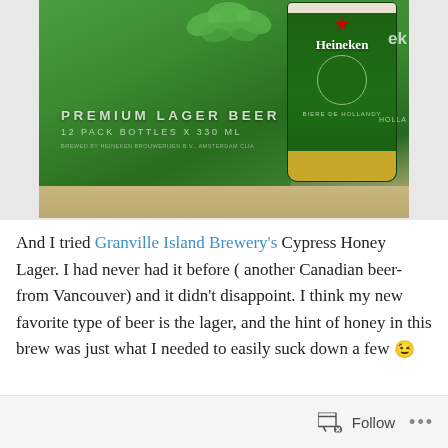[Figure (photo): Photo of a Heineken Premium Lager Beer 12 pack box with green packaging showing bottles. Text on box reads PREMIUM LAGER BEER, 12 PACK BOTTLES x 330 mL.]
And I tried Granville Island Brewery's Cypress Honey Lager. I had never had it before ( another Canadian beer-from Vancouver) and it didn't disappoint. I think my new favorite type of beer is the lager, and the hint of honey in this brew was just what I needed to easily suck down a few 😉
Follow ...